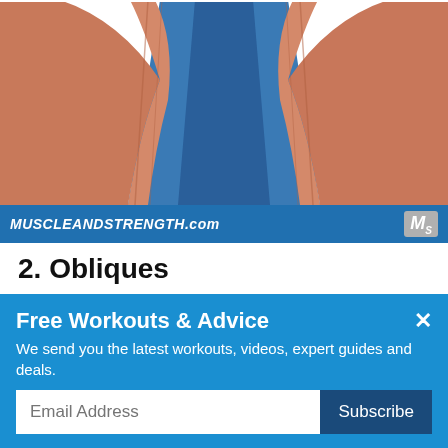[Figure (illustration): Anatomical illustration showing hip and upper thigh muscles from a frontal view, with blue and reddish-orange muscle groups visible]
MUSCLEANDSTRENGTH.com  MS
2. Obliques
Your obliques consist of two parts: the internal and external obliques. They both run along the sides of your core. The external obliques are located along the sides and front of your abdomen and the internal
Free Workouts & Advice
We send you the latest workouts, videos, expert guides and deals.